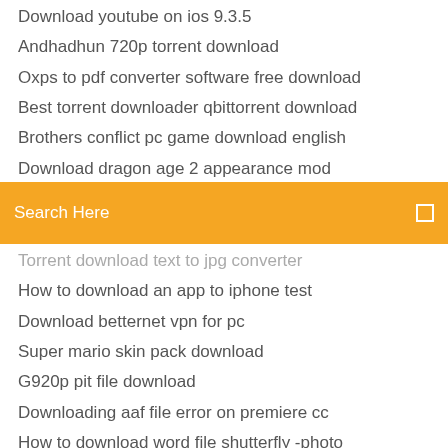Download youtube on ios 9.3.5
Andhadhun 720p torrent download
Oxps to pdf converter software free download
Best torrent downloader qbittorrent download
Brothers conflict pc game download english
Download dragon age 2 appearance mod
[Figure (screenshot): Orange search bar with text 'Search Here' and a search icon on the right]
Torrent download text to jpg converter
How to download an app to iphone test
Download betternet vpn for pc
Super mario skin pack download
G920p pit file download
Downloading aaf file error on premiere cc
How to download word file shutterfly -photo
Spotify music downloader ios
Video calling apps for android mobile download
Die schoene und das biest torrent download
Youtube to mp4 video converter free download